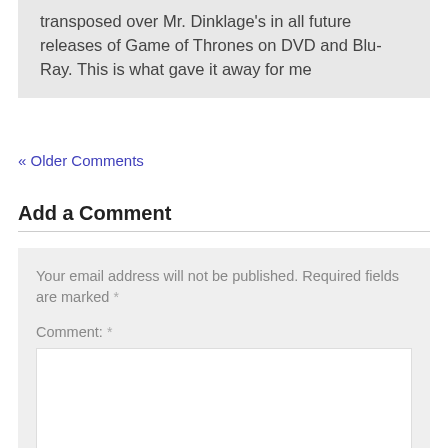transposed over Mr. Dinklage's in all future releases of Game of Thrones on DVD and Blu-Ray. This is what gave it away for me
« Older Comments
Add a Comment
Your email address will not be published. Required fields are marked *
Comment: *